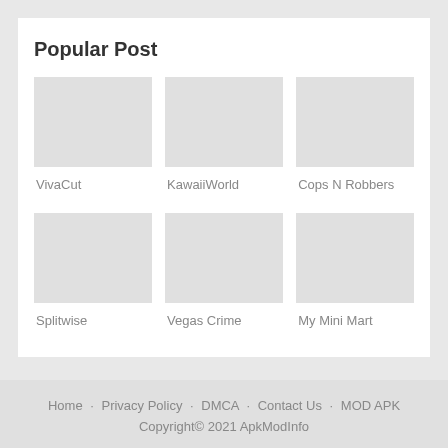Popular Post
VivaCut
KawaiiWorld
Cops N Robbers
Splitwise
Vegas Crime
My Mini Mart
Home · Privacy Policy · DMCA · Contact Us · MOD APK
Copyright© 2021 ApkModInfo